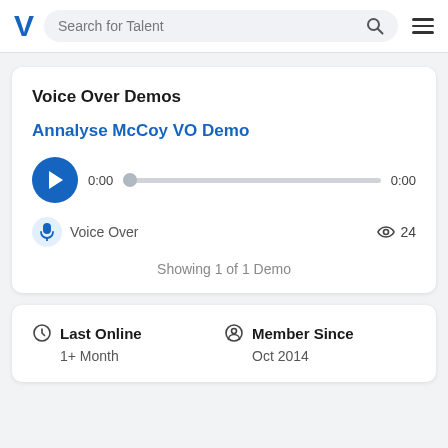V | Search for Talent
Voice Over Demos
Annalyse McCoy VO Demo
[Figure (other): Audio player with play button, progress bar showing 0:00 / 0:00]
Voice Over  🎧 24
Showing 1 of 1 Demo
Last Online
1+ Month
Member Since
Oct 2014